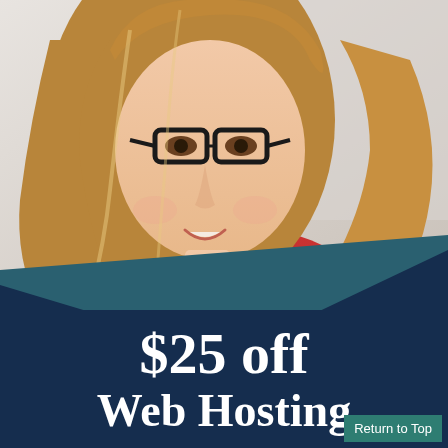[Figure (photo): Smiling young woman with long brown hair wearing black-rimmed glasses and a red top, looking slightly to the side in a bright indoor setting.]
$25 off Web Hosting
Return to Top